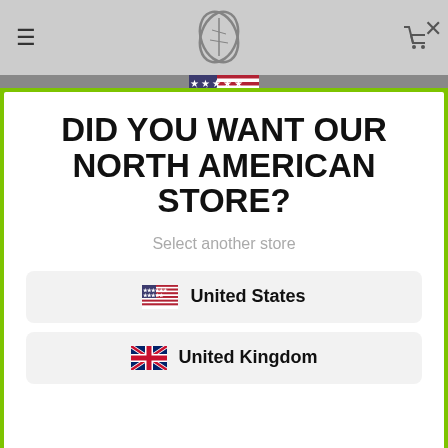[Figure (screenshot): Website navigation bar with hamburger menu, leaf logo, and cart icon on grey background]
[Figure (screenshot): Modal popup with green border asking 'DID YOU WANT OUR NORTH AMERICAN STORE?' with store selection buttons for United States and United Kingdom]
DID YOU WANT OUR NORTH AMERICAN STORE?
Select another store
United States
United Kingdom
[Figure (screenshot): Bottom dark area with 'Got it!' yellow button and 'OUR WORLD' underlined text]
Got it!